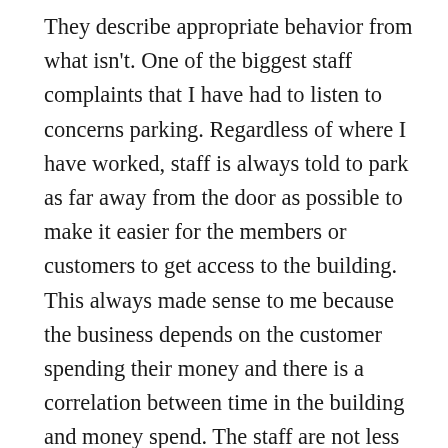They describe appropriate behavior from what isn't. One of the biggest staff complaints that I have had to listen to concerns parking. Regardless of where I have worked, staff is always told to park as far away from the door as possible to make it easier for the members or customers to get access to the building. This always made sense to me because the business depends on the customer spending their money and there is a correlation between time in the building and money spend. The staff are not less than the customers in the worth sense, they just don't buy as much as the customers so they are asked to walk further to get in the door. Rules are not value judgments, they are just there to make something a particular way